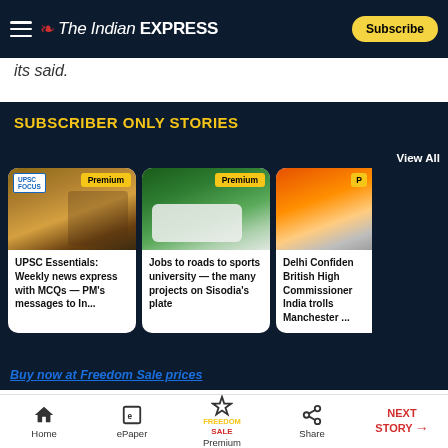The Indian EXPRESS — Subscribe
its said.
SUBSCRIBER ONLY STORIES
View All
[Figure (photo): Card 1: UPSC student at laptop with Premium badge]
UPSC Essentials: Weekly news express with MCQs — PM's messages to In...
[Figure (photo): Card 2: White car on road with Premium badge]
Jobs to roads to sports university — the many projects on Sisodia's plate
[Figure (photo): Card 3: People with garlands, partial view with P badge]
Delhi Confiden British High Commissioner India trolls Manchester ...
Buy now at Freedom Sale prices
Home  ePaper  Premium (Freedom Sale)  Share  NEXT STORY →